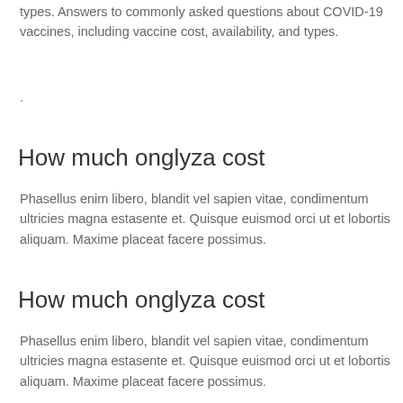types. Answers to commonly asked questions about COVID-19 vaccines, including vaccine cost, availability, and types.
.
How much onglyza cost
Phasellus enim libero, blandit vel sapien vitae, condimentum ultricies magna estasente et. Quisque euismod orci ut et lobortis aliquam. Maxime placeat facere possimus.
How much onglyza cost
Phasellus enim libero, blandit vel sapien vitae, condimentum ultricies magna estasente et. Quisque euismod orci ut et lobortis aliquam. Maxime placeat facere possimus.